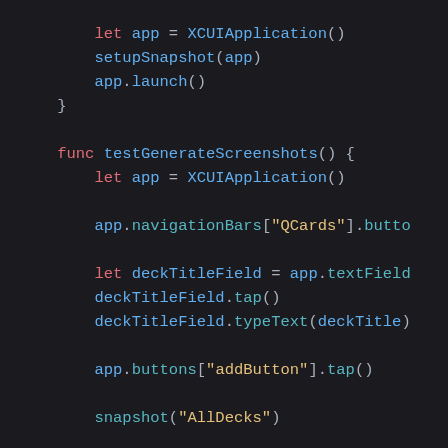[Figure (screenshot): Swift code snippet showing XCUIApplication setup and testGenerateScreenshots function with UI test interactions including navigationBars, textField, buttons, snapshot, and createCard calls.]